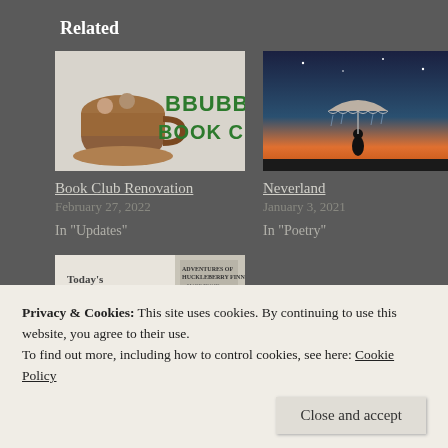Related
[Figure (photo): Book Club Renovation thumbnail showing a teacup with illustrated people and BBUBB BOOK CL text]
Book Club Renovation
February 27, 2022
In "Updates"
[Figure (photo): Neverland thumbnail showing a silhouette of a person holding an umbrella against a sunset sky]
Neverland
January 3, 2021
In "Poetry"
[Figure (photo): Third related post thumbnail showing Today's Discussion with Adventures of Huckleberry Finn book cover]
Privacy & Cookies: This site uses cookies. By continuing to use this website, you agree to their use.
To find out more, including how to control cookies, see here: Cookie Policy